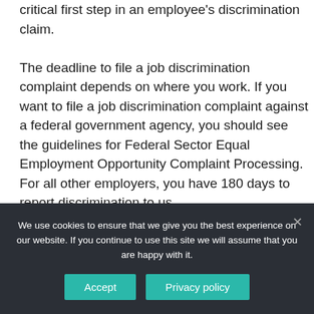critical first step in an employee's discrimination claim.

The deadline to file a job discrimination complaint depends on where you work. If you want to file a job discrimination complaint against a federal government agency, you should see the guidelines for Federal Sector Equal Employment Opportunity Complaint Processing. For all other employers, you have 180 days to report discrimination to us.
We use cookies to ensure that we give you the best experience on our website. If you continue to use this site we will assume that you are happy with it.